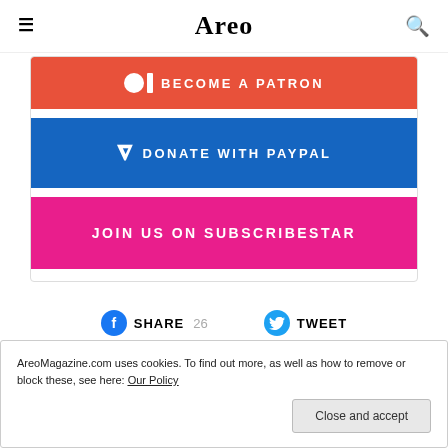≡  Areo  🔍
[Figure (screenshot): Donation/support buttons card: BECOME A PATRON (red/orange), DONATE WITH PAYPAL (blue), JOIN US ON SUBSCRIBESTAR (pink)]
SHARE  26     TWEET
AreoMagazine.com uses cookies. To find out more, as well as how to remove or block these, see here: Our Policy  Close and accept